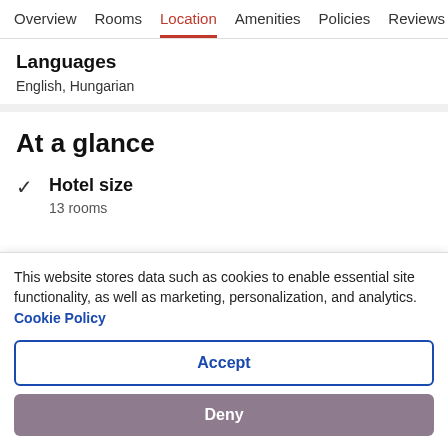Overview  Rooms  Location  Amenities  Policies  Reviews
Languages
English, Hungarian
At a glance
✓ Hotel size
13 rooms
This website stores data such as cookies to enable essential site functionality, as well as marketing, personalization, and analytics. Cookie Policy
Accept
Deny